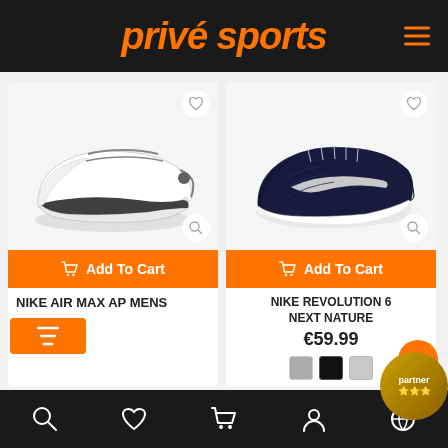privé sports
[Figure (screenshot): Nike Air Max AP Mens white sneaker product image]
Add To Cart
NIKE AIR MAX AP MENS
€124.99
[Figure (screenshot): Nike Revolution 6 Next Nature dark navy running shoe product image]
Add To Cart
NIKE REVOLUTION 6 NEXT NATURE
€59.99
Bottom navigation bar with search, wishlist, cart, account, and language icons